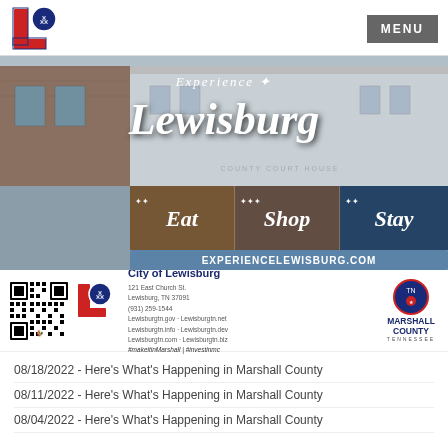[Figure (logo): City of Lewisburg logo — red L with blue circle]
[Figure (photo): Experience Lewisburg banner with courthouse photo, Eat Shop Stay sub-images, and EXPERIENCELEWISBURG.COM URL bar]
[Figure (infographic): City of Lewisburg info strip with QR code, city logo, contact info (121 East Church St, Lewisburg TN 37091, (931) 259-1544), Marshall County Tennessee logo, and hashtags #makeitinMarshall | #investinmc]
08/18/2022 - Here's What's Happening in Marshall County
08/11/2022 - Here's What's Happening in Marshall County
08/04/2022 - Here's What's Happening in Marshall County